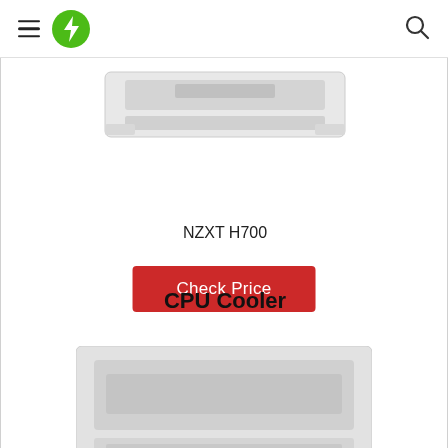Navigation bar with hamburger menu, green lightning bolt logo, and search icon
[Figure (photo): Partial top view of a white PC case (NZXT H700) cropped at the top of the content area]
Check Price
NZXT H700
CPU Cooler
[Figure (photo): Partial bottom image of a CPU cooler product, cropped and partially visible at the bottom of the page]